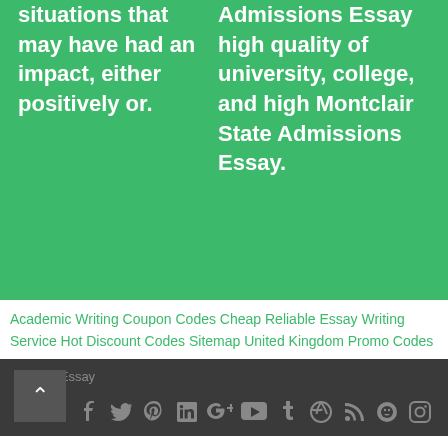situations that may have had an impact, either positively or.
Admissions Essay high quality of university, college, and high Montclair State Admissions Essay.
Academic Writing Coupon Codes Cheap Reliable Essay Writing Service Hot Discount Codes Sitemap United Kingdom Promo Codes
© 2020 Essay
[Figure (infographic): Social media icons row: Facebook, Twitter, Pinterest, LinkedIn, Google+, YouTube, Tumblr, Dribbble, RSS, GitHub-like, Instagram]